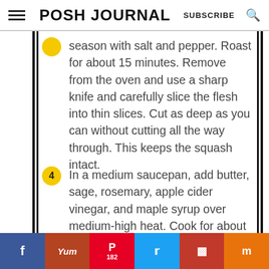POSH JOURNAL — SUBSCRIBE
season with salt and pepper. Roast for about 15 minutes. Remove from the oven and use a sharp knife and carefully slice the flesh into thin slices.  Cut as deep as you can without cutting all the way through.  This keeps the squash intact.
4  In a medium saucepan, add butter, sage, rosemary, apple cider vinegar, and maple syrup over medium-high heat. Cook for about 5 minutes.  Be sure to keep stirring
[Figure (infographic): Social sharing bar with Facebook, Yummly, Pinterest (182), Twitter, Flipboard, and Mix buttons]